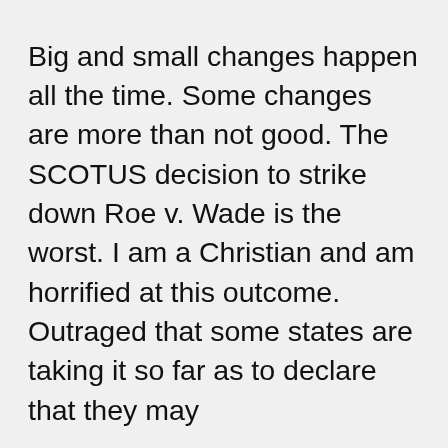Big and small changes happen all the time. Some changes are more than not good. The SCOTUS decision to strike down Roe v. Wade is the worst. I am a Christian and am horrified at this outcome. Outraged that some states are taking it so far as to declare that they may